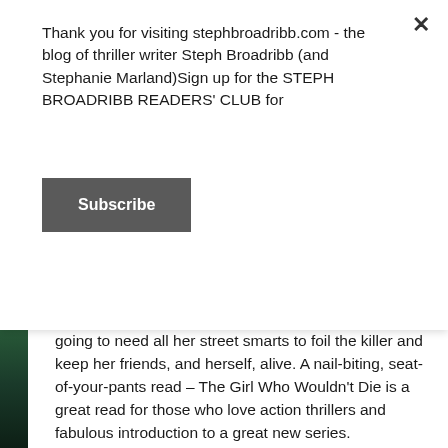Thank you for visiting stephbroadribb.com - the blog of thriller writer Steph Broadribb (and Stephanie Marland)Sign up for the STEPH BROADRIBB READERS' CLUB for
Subscribe
her past come back to haunt her, she realizes she's going to need all her street smarts to foil the killer and keep her friends, and herself, alive. A nail-biting, seat-of-your-pants read – The Girl Who Wouldn't Die is a great read for those who love action thrillers and fabulous introduction to a great new series.
You can find out more about Marnie Riches and her books by hopping over to www.marnieriches.com and following her on Twitter @Marnie_Riches